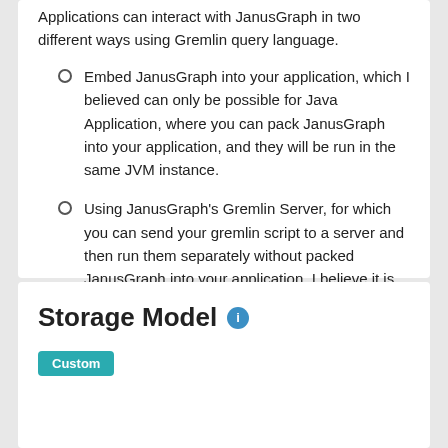Applications can interact with JanusGraph in two different ways using Gremlin query language.
Embed JanusGraph into your application, which I believed can only be possible for Java Application, where you can pack JanusGraph into your application, and they will be run in the same JVM instance.
Using JanusGraph's Gremlin Server, for which you can send your gremlin script to a server and then run them separately without packed JanusGraph into your application. I believe it is the recommended method as it is more portable and scalable.
Storage Model
Custom